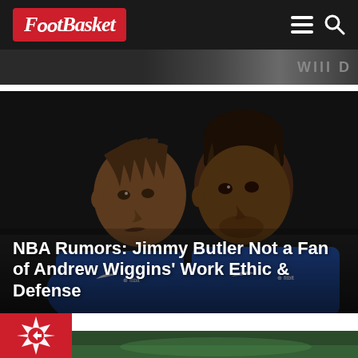FootBasket
[Figure (photo): Partial cropped sports photo at top of page, dark background]
[Figure (photo): NBA players Andrew Wiggins and Jimmy Butler in Minnesota Timberwolves uniforms facing each other, dark arena background]
NBA Rumors: Jimmy Butler Not a Fan of Andrew Wiggins' Work Ethic & Defense
[Figure (logo): Red box with white star/badge icon and circular arrow shape]
[Figure (photo): Partial cropped basketball game photo at bottom of page, green court background]